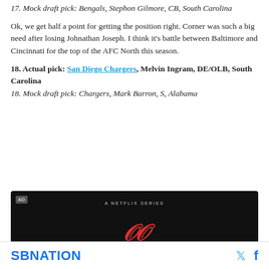17. Mock draft pick: Bengals, Stephon Gilmore, CB, South Carolina
Ok, we get half a point for getting the position right. Corner was such a big need after losing Johnathan Joseph. I think it's battle between Baltimore and Cincinnati for the top of the AFC North this season.
18. Actual pick: San Diego Chargers, Melvin Ingram, DE/OLB, South Carolina
18. Mock draft pick: Chargers, Mark Barron, S, Alabama
[Figure (screenshot): Advertisement banner - Netflix series ad with dark background and red stylized text logo]
SBNATION